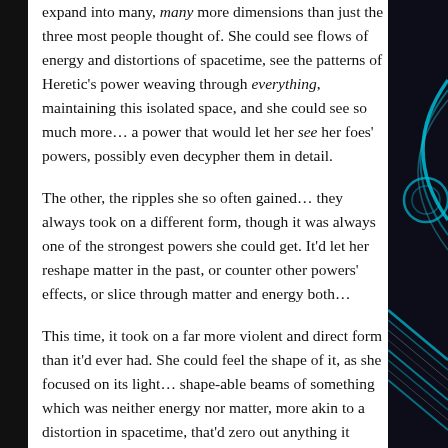expand into many, many more dimensions than just the three most people thought of. She could see flows of energy and distortions of spacetime, see the patterns of Heretic's power weaving through everything, maintaining this isolated space, and she could see so much more… a power that would let her see her foes' powers, possibly even decypher them in detail.
The other, the ripples she so often gained… they always took on a different form, though it was always one of the strongest powers she could get. It'd let her reshape matter in the past, or counter other powers' effects, or slice through matter and energy both…
This time, it took on a far more violent and direct form than it'd ever had. She could feel the shape of it, as she focused on its light… shape-able beams of something which was neither energy nor matter, more akin to a distortion in spacetime, that'd zero out anything it came into contact with…